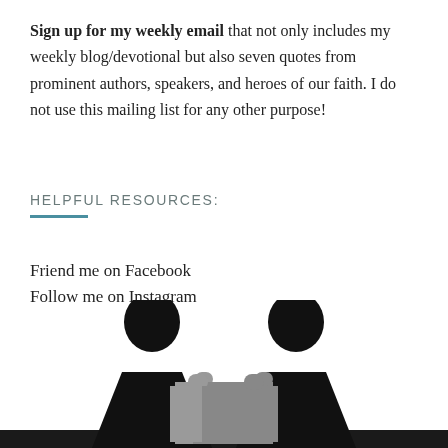Sign up for my weekly email that not only includes my weekly blog/devotional but also seven quotes from prominent authors, speakers, and heroes of our faith. I do not use this mailing list for any other purpose!
HELPFUL RESOURCES:
Friend me on Facebook
Follow me on Instagram
[Figure (illustration): Two black silhouette figures facing each other across a table, each holding a puzzle piece. The figures have round heads and triangular bodies. Two gray puzzle pieces are visible in the center between them. A dark horizontal bar spans the bottom of the image.]